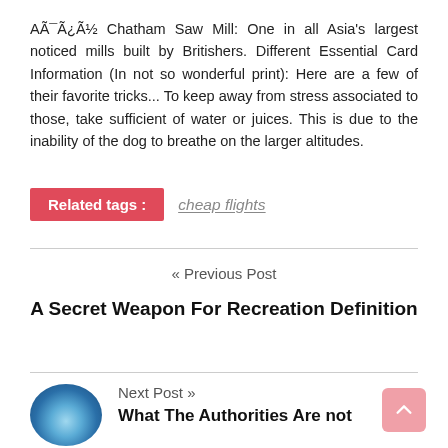AÃ¯Ã¿Ã½ Chatham Saw Mill: One in all Asia's largest noticed mills built by Britishers. Different Essential Card Information (In not so wonderful print): Here are a few of their favorite tricks... To keep away from stress associated to those, take sufficient of water or juices. This is due to the inability of the dog to breathe on the larger altitudes.
Related tags: cheap flights
« Previous Post
A Secret Weapon For Recreation Definition
Next Post »
What The Authorities Are not
[Figure (photo): Circular thumbnail photo of a mountain landscape with blue sky and green/blue tones]